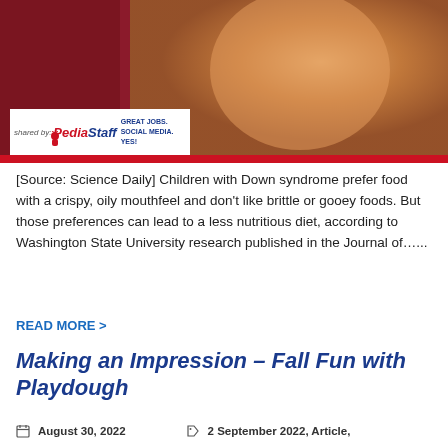[Figure (photo): Child with Down syndrome eating food, with PediaStaff/Science Daily branding overlay at bottom]
[Source: Science Daily] Children with Down syndrome prefer food with a crispy, oily mouthfeel and don’t like brittle or gooey foods. But those preferences can lead to a less nutritious diet, according to Washington State University research published in the Journal of……
READ MORE >
Making an Impression – Fall Fun with Playdough
August 30, 2022    2 September 2022, Article,